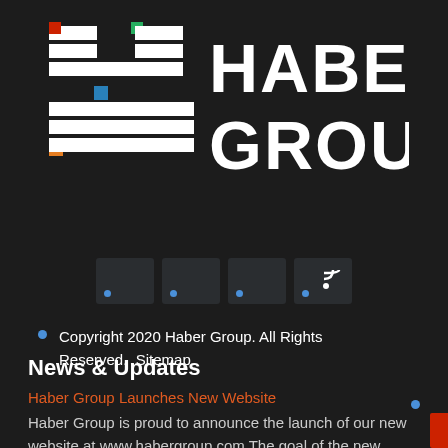[Figure (logo): Haber Group logo — stylized 'HG' letter mark with colored square accents (red, green, blue, orange) on dark background, accompanied by the text 'HABER GROUP' in white bold sans-serif]
[Figure (other): Row of four dark rounded square social media icon buttons with blue dot indicators]
Copyright 2020 Haber Group. All Rights Reserved.  Sitemap
News & Updates
Haber Group Launches New Website
Haber Group is proud to announce the launch of our new website at www.habergroup.com The goal of the new website is to make it easier for our existing clients to submit